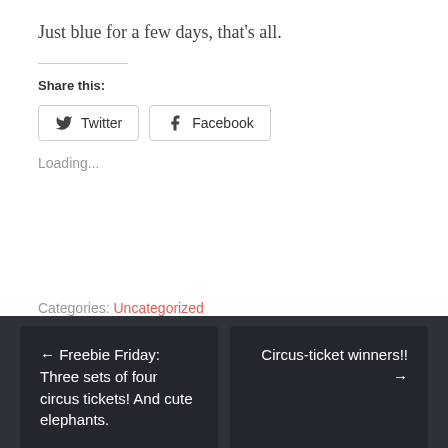Just blue for a few days, that's all.
Share this:
[Figure (other): Share buttons for Twitter and Facebook]
Loading...
Categories: Uncategorized
← Freebie Friday: Three sets of four circus tickets! And cute elephants.    Circus-ticket winners!! →